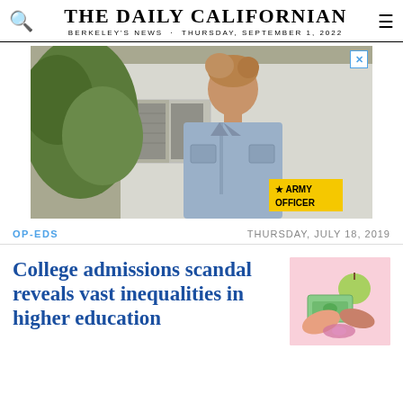THE DAILY CALIFORNIAN
BERKELEY'S NEWS · THURSDAY, SEPTEMBER 1, 2022
[Figure (photo): Advertisement photo showing a young man in a denim jacket standing in front of a white house with green foliage, with an Army Officer badge in the lower right corner.]
OP-EDS
THURSDAY, JULY 18, 2019
College admissions scandal reveals vast inequalities in higher education
[Figure (illustration): Illustrated thumbnail in pink tones showing hands exchanging money and an apple, related to college admissions corruption.]